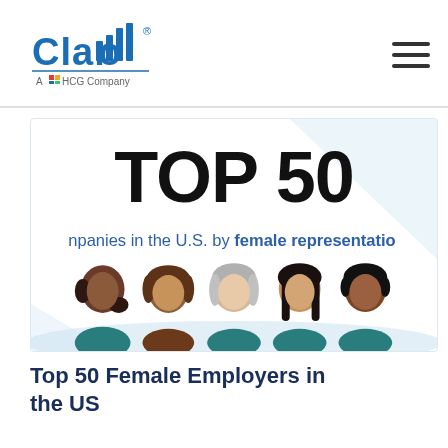[Figure (logo): Claro logo with bar chart icon and 'A WilsonHCG Company' subtitle]
TOP 50
companies in the U.S. by female representation
[Figure (illustration): Five diverse women avatar illustrations standing side by side with teal clothing and varied hair styles and skin tones]
Top 50 Female Employers in the US